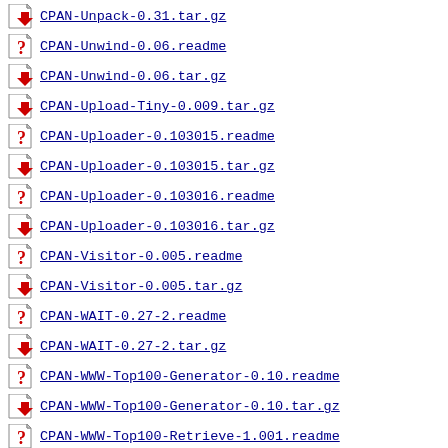CPAN-Unpack-0.31.tar.gz
CPAN-Unwind-0.06.readme
CPAN-Unwind-0.06.tar.gz
CPAN-Upload-Tiny-0.009.tar.gz
CPAN-Uploader-0.103015.readme
CPAN-Uploader-0.103015.tar.gz
CPAN-Uploader-0.103016.readme
CPAN-Uploader-0.103016.tar.gz
CPAN-Visitor-0.005.readme
CPAN-Visitor-0.005.tar.gz
CPAN-WAIT-0.27-2.readme
CPAN-WAIT-0.27-2.tar.gz
CPAN-WWW-Top100-Generator-0.10.readme
CPAN-WWW-Top100-Generator-0.10.tar.gz
CPAN-WWW-Top100-Retrieve-1.001.readme
CPAN-WWW-Top100-Retrieve-1.001.tar.gz
CPAN-Webserver-0.01.readme
CPAN-Webserver-0.01.tar.gz